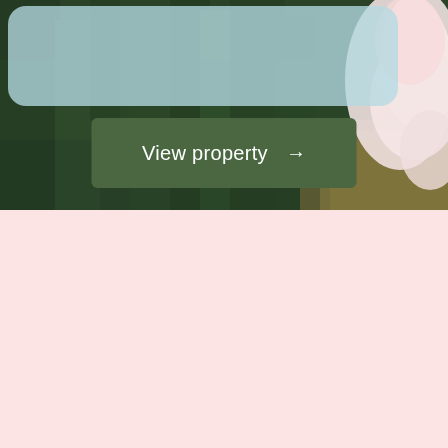[Figure (photo): A photograph of dark green grass with a white/pink furry dog partially visible in the upper right corner. A light blue rounded rectangle card overlay appears at the top. A dark olive green button reading 'View property →' is centered over the image.]
View property →